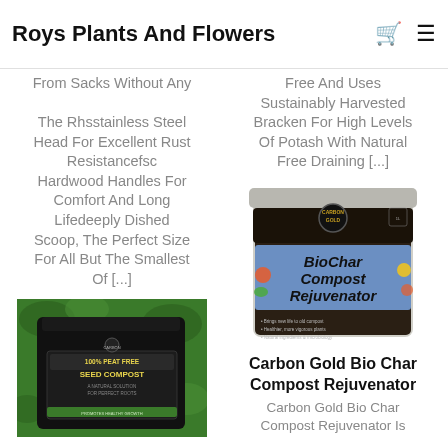Roys Plants And Flowers
From Sacks Without Any... The Rhsstainless Steel Head For Excellent Rust Resistancefsc Hardwood Handles For Comfort And Long Lifedeeply Dished Scoop, The Perfect Size For All But The Smallest Of [...]
Free And Uses Sustainably Harvested Bracken For High Levels Of Potash With Natural Free Draining [...]
[Figure (photo): Black bag of 100% Peat Free Seed Compost with plants in background]
[Figure (photo): Carbon Gold Biochar Compost Rejuvenator tub/bucket]
Carbon Gold Bio Char Compost Rejuvenator
Carbon Gold Bio Char Compost Rejuvenator Is